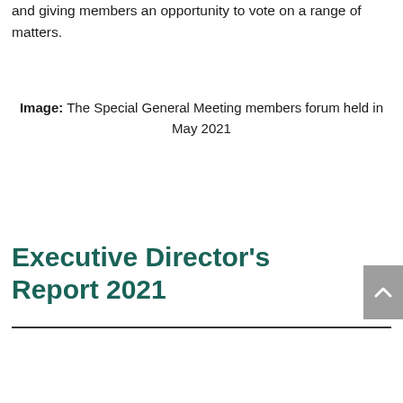and giving members an opportunity to vote on a range of matters.
Image: The Special General Meeting members forum held in May 2021
Executive Director's Report 2021